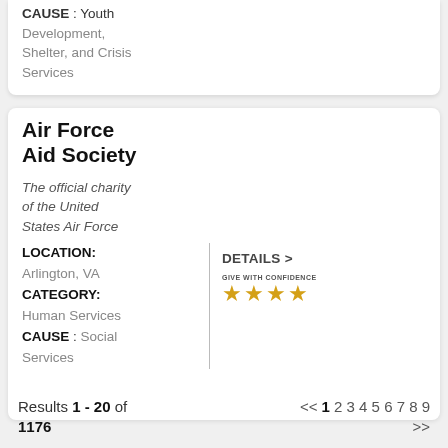CAUSE : Youth Development, Shelter, and Crisis Services
Air Force Aid Society
The official charity of the United States Air Force
LOCATION: Arlington, VA
CATEGORY: Human Services
CAUSE : Social Services
DETAILS >
[Figure (other): Give With Confidence badge with 4 gold stars]
Results 1 - 20 of 1176  << 1 2 3 4 5 6 7 8 9 >>